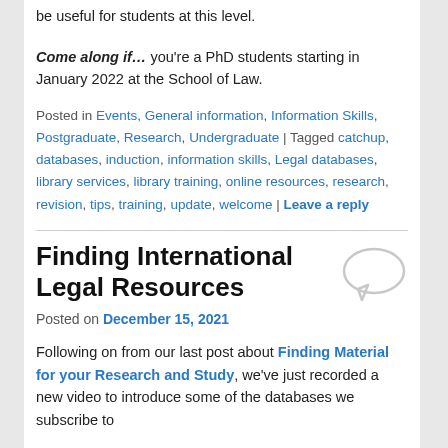be useful for students at this level.
Come along if… you're a PhD students starting in January 2022 at the School of Law.
Posted in Events, General information, Information Skills, Postgraduate, Research, Undergraduate | Tagged catchup, databases, induction, information skills, Legal databases, library services, library training, online resources, research, revision, tips, training, update, welcome | Leave a reply
Finding International Legal Resources
Posted on December 15, 2021
Following on from our last post about Finding Material for your Research and Study, we've just recorded a new video to introduce some of the databases we subscribe to